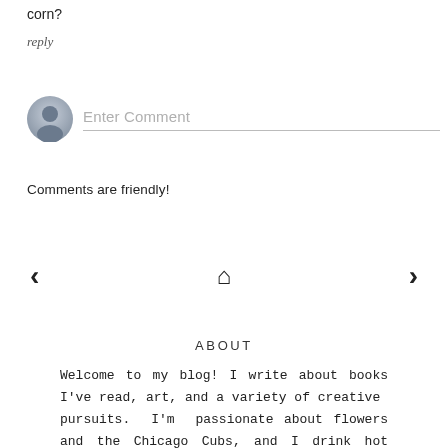corn?
reply
[Figure (other): User avatar (generic silhouette) with an Enter Comment input field below]
Comments are friendly!
< (previous navigation arrow)
⌂ (home icon)
> (next navigation arrow)
ABOUT
Welcome to my blog! I write about books I've read, art, and a variety of creative pursuits. I'm passionate about flowers and the Chicago Cubs, and I drink hot cocoa year 'round. To